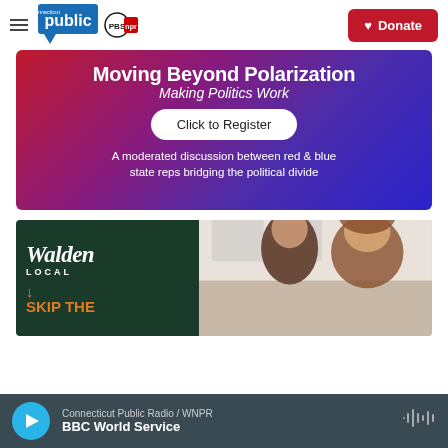Connecticut Public | PBS | NPR — Donate
[Figure (infographic): Moving Beyond Polarization — Making Politics Work. Click to Register. A moderated discussion between red & blue state reps bridging the political divide.]
[Figure (infographic): Walden Local — Skip The advertisement with two people smiling in a kitchen]
Connecticut Public Radio / WNPR — BBC World Service (audio player bar)